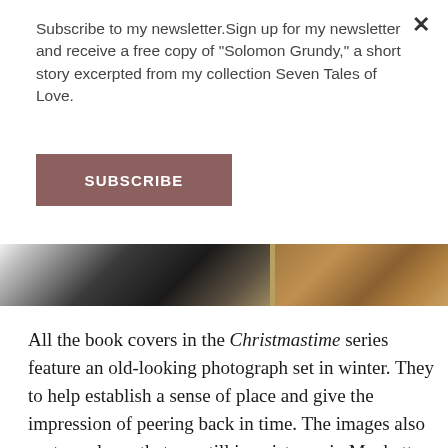Subscribe to my newsletter.Sign up for my newsletter and receive a free copy of "Solomon Grundy," a short story excerpted from my collection Seven Tales of Love.
SUBSCRIBE
[Figure (photo): Two old-looking photographs side by side: left shows a dark winter scene, right shows a warm-toned surface with decorative elements]
All the book covers in the Christmastime series feature an old-looking photograph set in winter. They to help establish a sense of place and give the impression of peering back in time. The images also portray places that are still in existence in Manhattan, so that the reader can feel it’s possible to step into the world of Christmastime by strolling through New York City, whether literally or imaginatively. Hence, the snowy